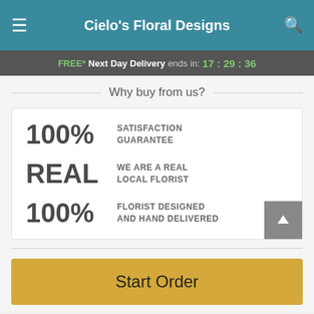Cielo's Floral Designs
FREE* Next Day Delivery ends in: 17:29:36
Why buy from us?
100% SATISFACTION GUARANTEE
REAL WE ARE A REAL LOCAL FLORIST
100% FLORIST DESIGNED AND HAND DELIVERED
Start Order